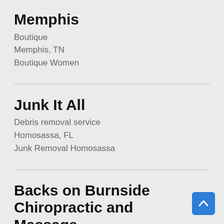Memphis
Boutique
Memphis, TN
Boutique Women
Junk It All
Debris removal service
Homosassa, FL
Junk Removal Homosassa
Backs on Burnside Chiropractic and Massage
Chiropractor